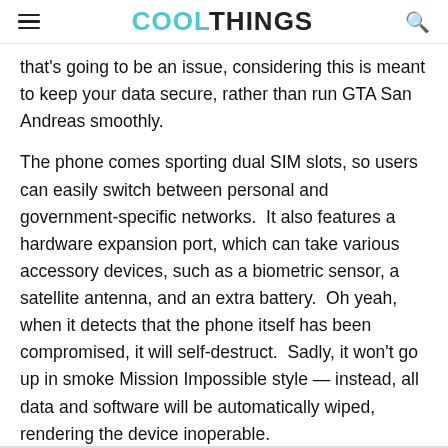COOLTHINGS
that's going to be an issue, considering this is meant to keep your data secure, rather than run GTA San Andreas smoothly.
The phone comes sporting dual SIM slots, so users can easily switch between personal and government-specific networks.  It also features a hardware expansion port, which can take various accessory devices, such as a biometric sensor, a satellite antenna, and an extra battery.  Oh yeah, when it detects that the phone itself has been compromised, it will self-destruct.  Sadly, it won't go up in smoke Mission Impossible style — instead, all data and software will be automatically wiped, rendering the device inoperable.
The Boeing Black will be sold strictly to the aersopace's clients in the defense and security industries.